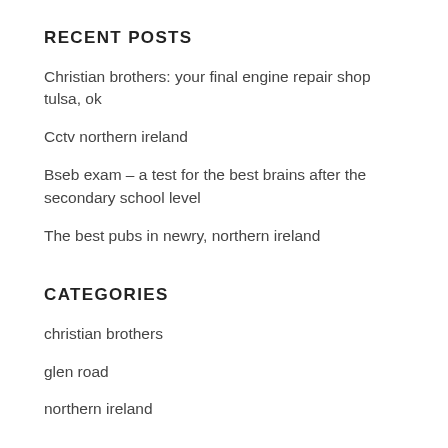RECENT POSTS
Christian brothers: your final engine repair shop tulsa, ok
Cctv northern ireland
Bseb exam – a test for the best brains after the secondary school level
The best pubs in newry, northern ireland
CATEGORIES
christian brothers
glen road
northern ireland